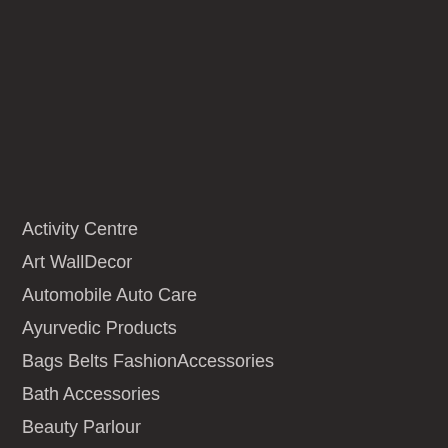Activity Centre
Art WallDecor
Automobile Auto Care
Ayurvedic Products
Bags Belts FashionAccessories
Bath Accessories
Beauty Parlour